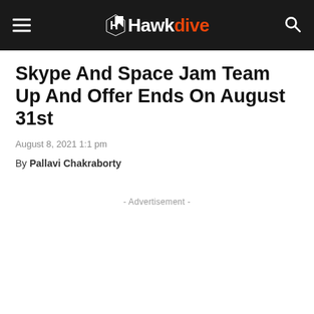Hawkdive
Skype And Space Jam Team Up And Offer Ends On August 31st
August 8, 2021 1:1 pm
By Pallavi Chakraborty
- Advertisement -